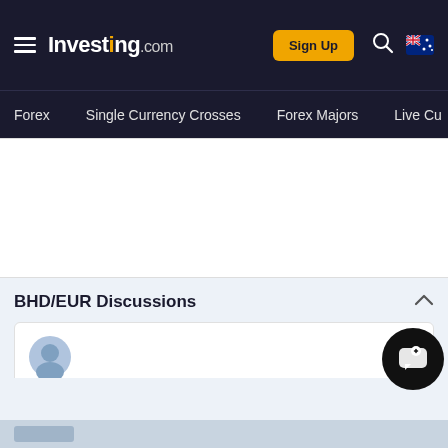Investing.com — Sign Up | Forex | Single Currency Crosses | Forex Majors | Live Cu
BHD/EUR Discussions
[Figure (screenshot): Comment input box with user avatar icon and floating chat button on right]